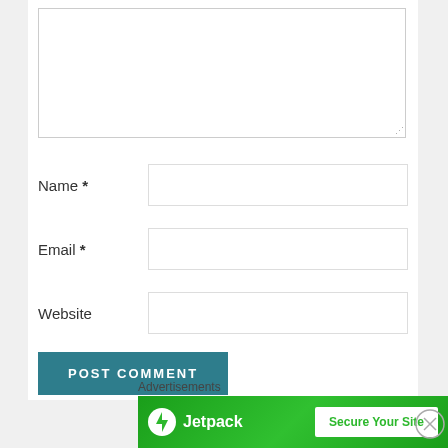[Figure (screenshot): Comment form with textarea, Name, Email, Website fields, POST COMMENT button, and a Jetpack advertisement banner at the bottom.]